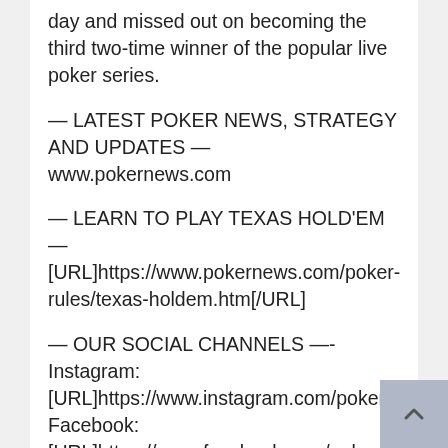day and missed out on becoming the third two-time winner of the popular live poker series.
— LATEST POKER NEWS, STRATEGY AND UPDATES —
www.pokernews.com
— LEARN TO PLAY TEXAS HOLD'EM —
[URL]https://www.pokernews.com/poker-rules/texas-holdem.htm[/URL]
— OUR SOCIAL CHANNELS —-
Instagram:
[URL]https://www.instagram.com/pokernews[/URL]
Facebook:
[URL]https://www.facebook.com/pokernewsdot